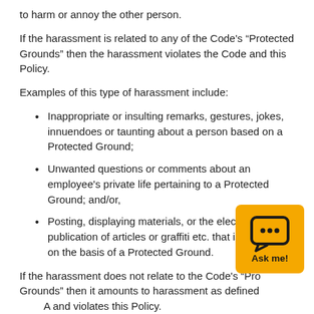to harm or annoy the other person.
If the harassment is related to any of the Code's “Protected Grounds” then the harassment violates the Code and this Policy.
Examples of this type of harassment include:
Inappropriate or insulting remarks, gestures, jokes, innuendoes or taunting about a person based on a Protected Ground;
Unwanted questions or comments about an employee’s private life pertaining to a Protected Ground; and/or,
Posting, displaying materials, or the electronic publication of articles or graffiti etc. that is offensive on the basis of a Protected Ground.
If the harassment does not relate to the Code’s “Protected Grounds” then it amounts to harassment as defined… A and violates this Policy.
[Figure (other): Orange Ask me! chatbot widget button with chat bubble icon]
Examples of this type of harassment include: